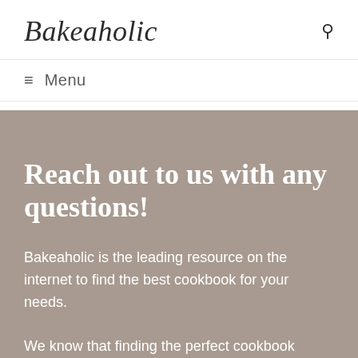Bakeaholic
≡ Menu
Reach out to us with any questions!
Bakeaholic is the leading resource on the internet to find the best cookbook for your needs.
We know that finding the perfect cookbook